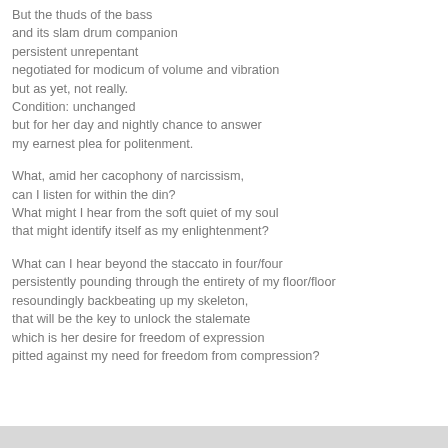But the thuds of the bass
and its slam drum companion
persistent unrepentant
negotiated for modicum of volume and vibration
but as yet, not really.
Condition: unchanged
but for her day and nightly chance to answer
my earnest plea for politenment.
What, amid her cacophony of narcissism,
can I listen for within the din?
What might I hear from the soft quiet of my soul
that might identify itself as my enlightenment?
What can I hear beyond the staccato in four/four
persistently pounding through the entirety of my floor/floor
resoundingly backbeating up my skeleton,
that will be the key to unlock the stalemate
which is her desire for freedom of expression
pitted against my need for freedom from compression?